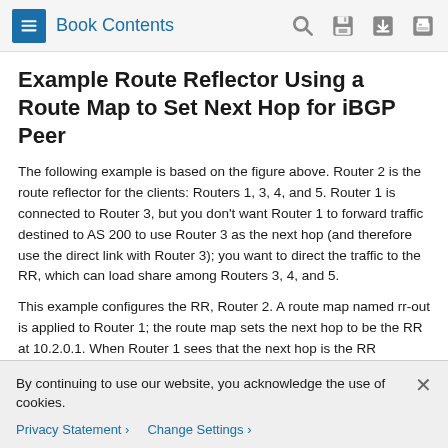Book Contents
Example Route Reflector Using a Route Map to Set Next Hop for iBGP Peer
The following example is based on the figure above. Router 2 is the route reflector for the clients: Routers 1, 3, 4, and 5. Router 1 is connected to Router 3, but you don't want Router 1 to forward traffic destined to AS 200 to use Router 3 as the next hop (and therefore use the direct link with Router 3); you want to direct the traffic to the RR, which can load share among Routers 3, 4, and 5.
This example configures the RR, Router 2. A route map named rr-out is applied to Router 1; the route map sets the next hop to be the RR at 10.2.0.1. When Router 1 sees that the next hop is the RR address, Router 1 forwards the routes to the RR. When the RR receives packets, it will automatically load share among
By continuing to use our website, you acknowledge the use of cookies.
Privacy Statement › Change Settings ›